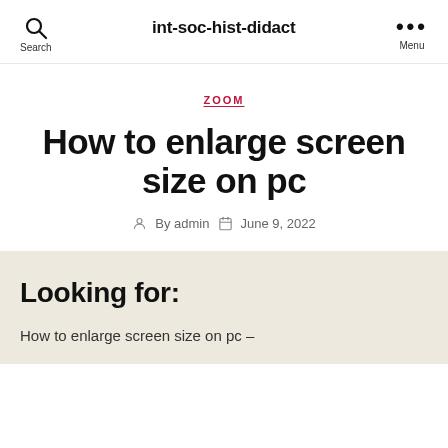int-soc-hist-didact
ZOOM
How to enlarge screen size on pc
By admin  June 9, 2022
Looking for:
How to enlarge screen size on pc –